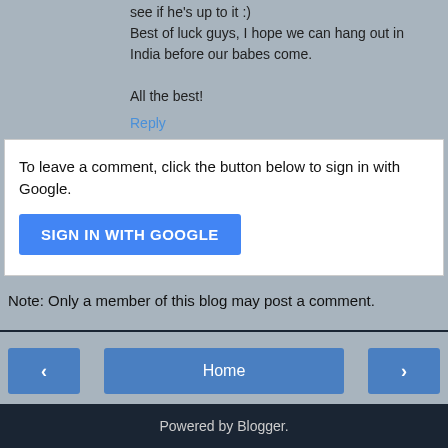see if he's up to it :)
Best of luck guys, I hope we can hang out in India before our babes come.

All the best!
Reply
To leave a comment, click the button below to sign in with Google.
SIGN IN WITH GOOGLE
Note: Only a member of this blog may post a comment.
Powered by Blogger.